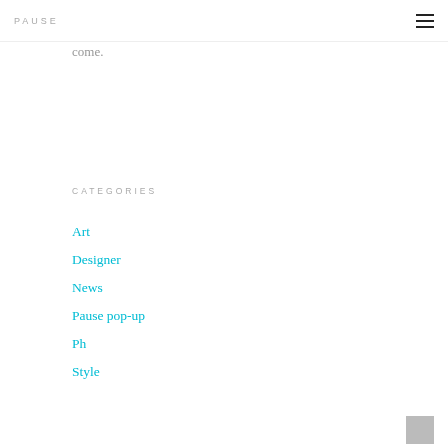PAUSE
come.
CATEGORIES
Art
Designer
News
Pause pop-up
Ph
Style